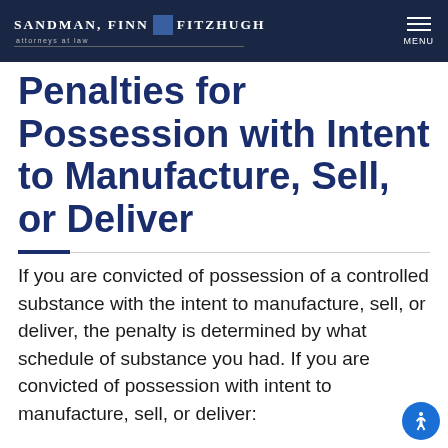Sandman, Finn & Fitzhugh attorneys at law
Penalties for Possession with Intent to Manufacture, Sell, or Deliver
If you are convicted of possession of a controlled substance with the intent to manufacture, sell, or deliver, the penalty is determined by what schedule of substance you had. If you are convicted of possession with intent to manufacture, sell, or deliver: